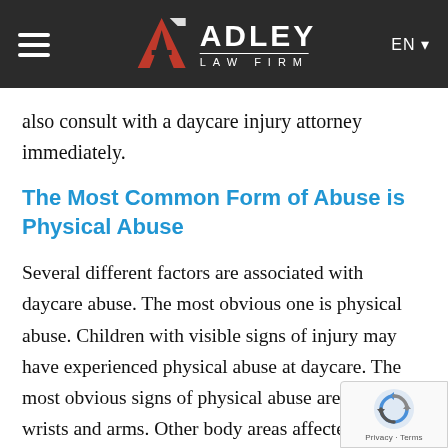Adley Law Firm — EN
also consult with a daycare injury attorney immediately.
The Most Common Form of Abuse is Physical Abuse
Several different factors are associated with daycare abuse. The most obvious one is physical abuse. Children with visible signs of injury may have experienced physical abuse at daycare. The most obvious signs of physical abuse are on the wrists and arms. Other body areas affected by the